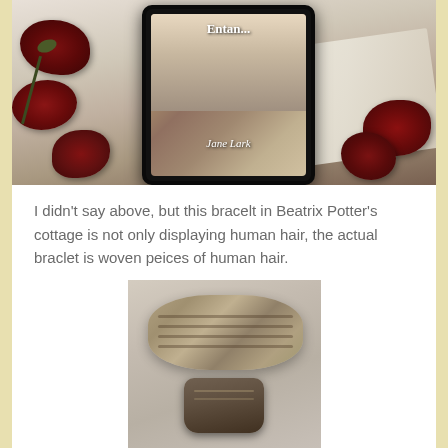[Figure (photo): Photo of a tablet/e-reader displaying a book cover titled 'Entangled' by Jane Lark, placed on an open book surrounded by dried dark red roses on a light surface]
I didn't say above, but this bracelt in Beatrix Potter's cottage is not only displaying human hair, the actual braclet is woven peices of human hair.
[Figure (photo): Close-up photo of a woven hair bracelet made of braided human hair strands with a dark metal or wooden clasp/pendant, resting on a light background]